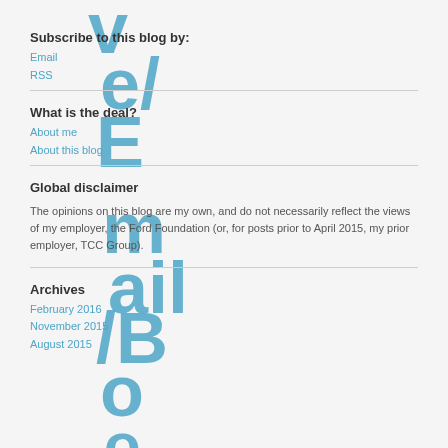Subscribe to this blog by:
Email
RSS
What is the deal?
About me
About this blog
Global disclaimer
The opinions on this blog are my own, and do not necessarily reflect the views of my employer, the Ford Foundation (or, for posts prior to April 2015, my prior employer, TCC Group).
Archives
February 2016
November 2015
August 2015